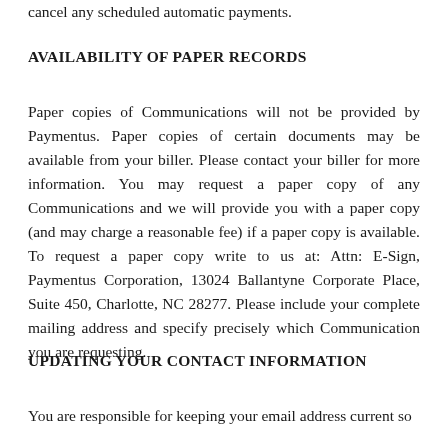cancel any scheduled automatic payments.
AVAILABILITY OF PAPER RECORDS
Paper copies of Communications will not be provided by Paymentus. Paper copies of certain documents may be available from your biller. Please contact your biller for more information. You may request a paper copy of any Communications and we will provide you with a paper copy (and may charge a reasonable fee) if a paper copy is available. To request a paper copy write to us at: Attn: E-Sign, Paymentus Corporation, 13024 Ballantyne Corporate Place, Suite 450, Charlotte, NC 28277. Please include your complete mailing address and specify precisely which Communication you are requesting.
UPDATING YOUR CONTACT INFORMATION
You are responsible for keeping your email address current so